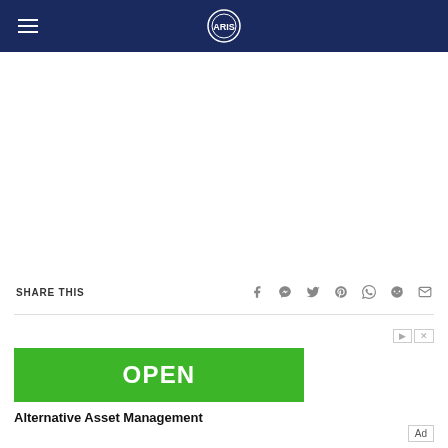Navigation bar with hamburger menu and site logo
SHARE THIS
[Figure (infographic): Social share icons: Facebook, Messenger, Twitter, Pinterest, WhatsApp, Reddit, Email]
[Figure (infographic): Advertisement with green OPEN button and text 'Alternative Asset Management']